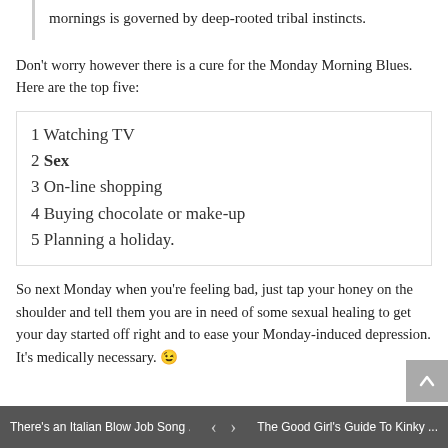mornings is governed by deep-rooted tribal instincts.
Don't worry however there is a cure for the Monday Morning Blues. Here are the top five:
1 Watching TV
2 Sex
3 On-line shopping
4 Buying chocolate or make-up
5 Planning a holiday.
So next Monday when you're feeling bad, just tap your honey on the shoulder and tell them you are in need of some sexual healing to get your day started off right and to ease your Monday-induced depression. It's medically necessary. 😉
There's an Italian Blow Job Song ...   <   >   The Good Girl's Guide To Kinky ...